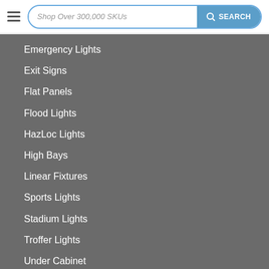Shop Over 300,000 SKUs | SEARCH
Emergency Lights
Exit Signs
Flat Panels
Flood Lights
HazLoc Lights
High Bays
Linear Fixtures
Sports Lights
Stadium Lights
Troffer Lights
Under Cabinet
Wall Packs
Indoor Lighting
Outdoor Lighting